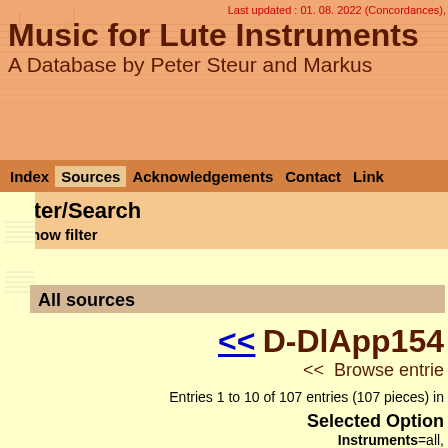Last updated : 01. 08. 2022 (Concordances),
Music for Lute Instruments
A Database by Peter Steur and Markus
Index  Sources  Acknowledgements  Contact  Link
Filter/Search
> Show filter
All sources
<< D-DlApp154
<< Browse entrie
Entries 1 to 10 of 107 entries (107 pieces) in
Selected Option
Instruments=all,
Source = D-DlApp15